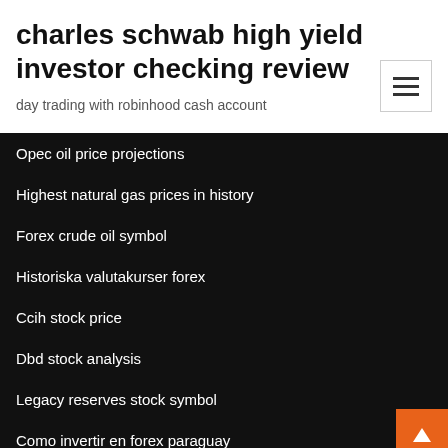charles schwab high yield investor checking review
day trading with robinhood cash account
Opec oil price projections
Highest natural gas prices in history
Forex crude oil symbol
Historiska valutakurser forex
Ccih stock price
Dbd stock analysis
Legacy reserves stock symbol
Como invertir en forex paraguay